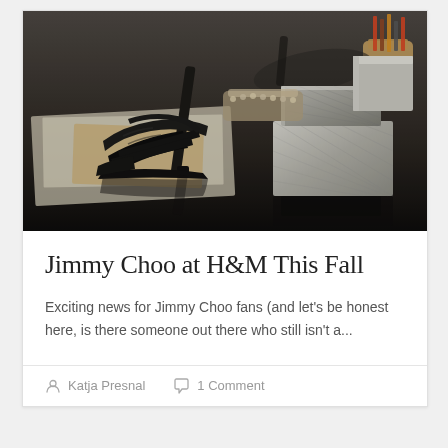[Figure (photo): Fashion photography showing black strappy high heel sandals on a dark reflective surface, with decorative silver/metallic boxes and accessories in the background, design sketches visible underneath]
Jimmy Choo at H&M This Fall
Exciting news for Jimmy Choo fans (and let's be honest here, is there someone out there who still isn't a...
Katja Presnal   1 Comment